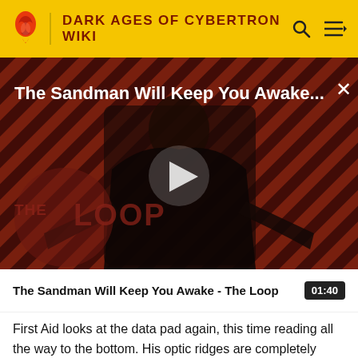DARK AGES OF CYBERTRON WIKI
[Figure (screenshot): Video thumbnail for 'The Sandman Will Keep You Awake - The Loop' showing a dark-cloaked figure against a red diagonal striped background with a play button overlay and The Loop watermark]
The Sandman Will Keep You Awake - The Loop  01:40
First Aid looks at the data pad again, this time reading all the way to the bottom. His optic ridges are completely hidden by the shape of his visor and helm, but the